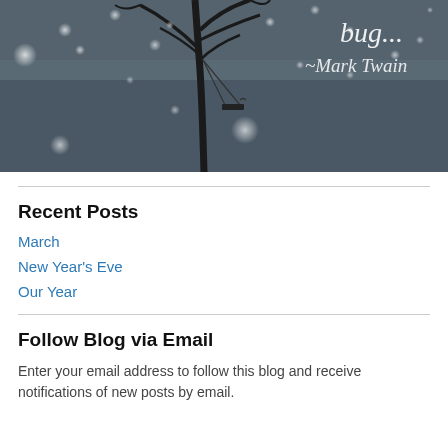[Figure (photo): Dark atmospheric image of a bare tree in fog with a swing hanging from it, glowing orbs of light scattered throughout, and cursive text reading 'bug...' and '~Mark Twain' in the upper right]
Recent Posts
March
New Year's Eve
Our Year
Follow Blog via Email
Enter your email address to follow this blog and receive notifications of new posts by email.